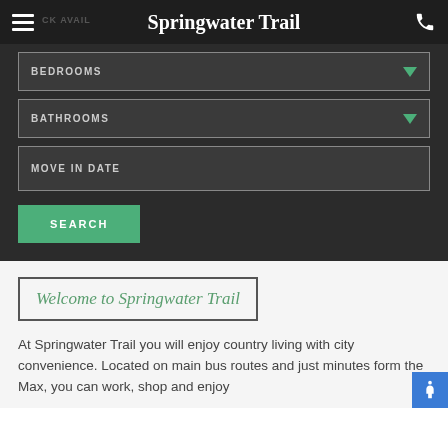Springwater Trail
BEDROOMS
BATHROOMS
MOVE IN DATE
SEARCH
Welcome to Springwater Trail
At Springwater Trail you will enjoy country living with city convenience. Located on main bus routes and just minutes form the Max, you can work, shop and enjoy